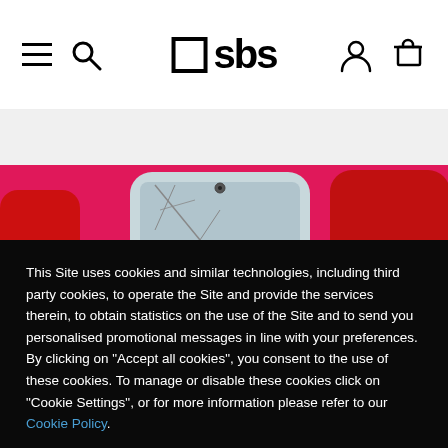SBS logo navigation header with hamburger menu, search, user, and cart icons
[Figure (photo): A smartphone with cracked screen on a pink/red background, partially visible]
This Site uses cookies and similar technologies, including third party cookies, to operate the Site and provide the services therein, to obtain statistics on the use of the Site and to send you personalised promotional messages in line with your preferences. By clicking on "Accept all cookies", you consent to the use of these cookies. To manage or disable these cookies click on "Cookie Settings", or for more information please refer to our Cookie Policy.
Configure
Accept